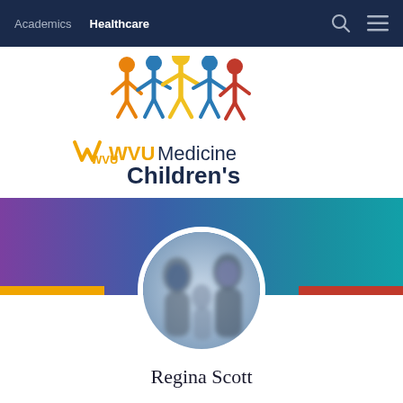Academics  Healthcare
[Figure (logo): WVU Medicine Children's logo with colorful figures of children holding hands above the text]
[Figure (photo): Profile photo of Regina Scott in a circular frame, showing blurred figures of people, set against a purple-to-teal gradient banner with gold and red stripes]
Regina Scott